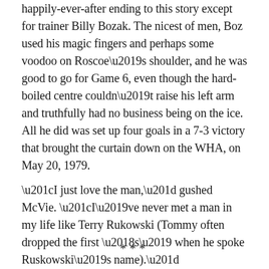happily-ever-after ending to this story except for trainer Billy Bozak. The nicest of men, Boz used his magic fingers and perhaps some voodoo on Roscoe’s shoulder, and he was good to go for Game 6, even though the hard-boiled centre couldn’t raise his left arm and truthfully had no business being on the ice. All he did was set up four goals in a 7-3 victory that brought the curtain down on the WHA, on May 20, 1979.
“I just love the man,” gushed McVie. “I’ve never met a man in my life like Terry Rukowski (Tommy often dropped the first ‘s’ when he spoke Ruskowski’s name).”
***